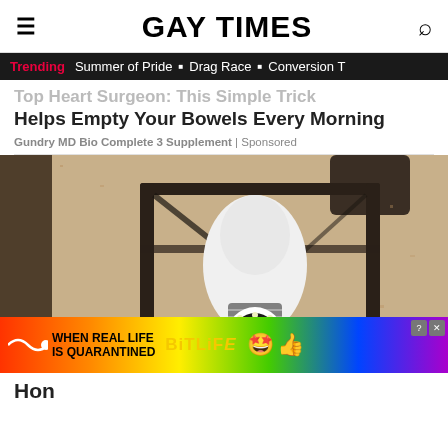GAY TIMES
Trending  Summer of Pride  Drag Race  Conversion T
Top Heart Surgeon: This Simple Trick Helps Empty Your Bowels Every Morning
Gundry MD Bio Complete 3 Supplement | Sponsored
[Figure (photo): Outdoor wall lantern with a white LED security camera bulb installed inside the black metal fixture, mounted on a textured stucco wall.]
[Figure (other): BitLife advertisement banner with rainbow gradient background, text 'WHEN REAL LIFE IS QUARANTINED' and BitLife logo with emoji icons.]
Hon